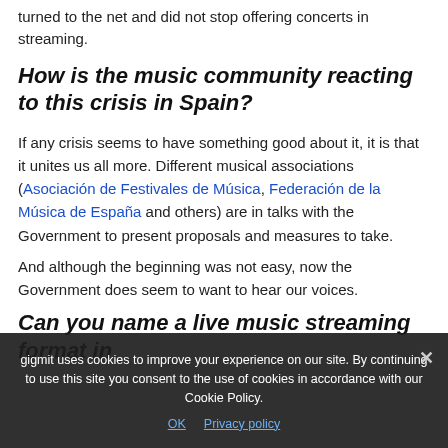turned to the net and did not stop offering concerts in streaming.
How is the music community reacting to this crisis in Spain?
If any crisis seems to have something good about it, it is that it unites us all more. Different musical associations (Asociación de Festivales de Música, Federación de la Música de España and others) are in talks with the Government to present proposals and measures to take.
And although the beginning was not easy, now the Government does seem to want to hear our voices.
Can you name a live music streaming format in
gigmit uses cookies to improve your experience on our site. By continuing to use this site you consent to the use of cookies in accordance with our Cookie Policy.